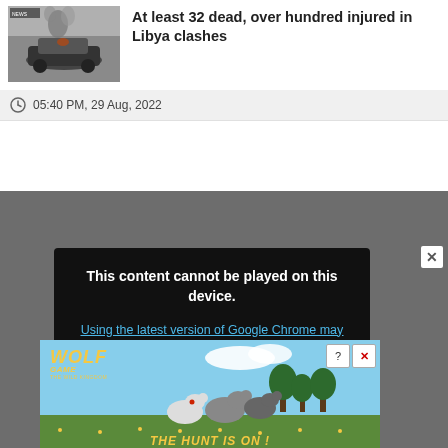[Figure (photo): Burned/damaged car with smoke, news thumbnail]
At least 32 dead, over hundred injured in Libya clashes
05:40 PM, 29 Aug, 2022
[Figure (screenshot): Video player error box: 'This content cannot be played on this device. Using the latest version of Google Chrome may help to view this content.']
[Figure (photo): Wolf Game: The Wild Kingdom advertisement banner showing wolves and the tagline 'The Hunt Is On!']